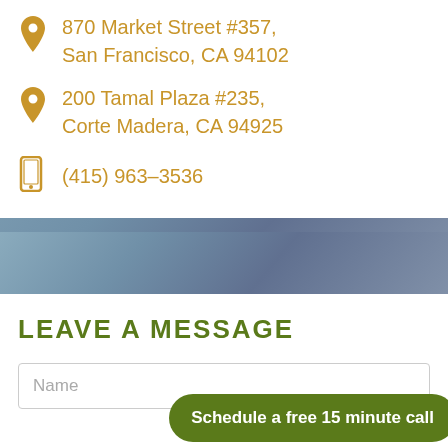870 Market Street #357, San Francisco, CA 94102
200 Tamal Plaza #235, Corte Madera, CA 94925
(415) 963-3536
LEAVE A MESSAGE
Name
Schedule a free 15 minute call